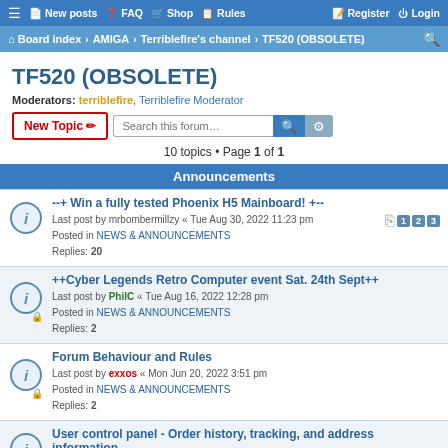≡  New posts  FAQ  Shop  Rules    Register  Login
Board index › AMIGA › Terriblefire's channel › TF520 (OBSOLETE)
TF520 (OBSOLETE)
Moderators: terriblefire, Terriblefire Moderator
10 topics • Page 1 of 1
Announcements
--+ Win a fully tested Phoenix H5 Mainboard! +--
Last post by mrbombermillzy « Tue Aug 30, 2022 11:23 pm
Posted in NEWS & ANNOUNCEMENTS
Replies: 20
++Cyber Legends Retro Computer event Sat. 24th Sept++
Last post by PhilC « Tue Aug 16, 2022 12:28 pm
Posted in NEWS & ANNOUNCEMENTS
Replies: 2
Forum Behaviour and Rules
Last post by exxos « Mon Jun 20, 2022 3:51 pm
Posted in NEWS & ANNOUNCEMENTS
Replies: 2
User control panel - Order history, tracking, and address information
Last post by exxos « Mon Feb 07, 2022 1:21 pm